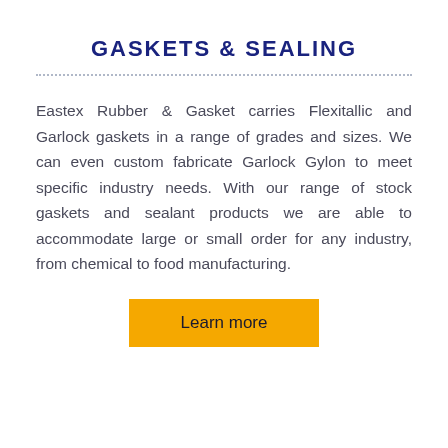GASKETS & SEALING
Eastex Rubber & Gasket carries Flexitallic and Garlock gaskets in a range of grades and sizes. We can even custom fabricate Garlock Gylon to meet specific industry needs. With our range of stock gaskets and sealant products we are able to accommodate large or small order for any industry, from chemical to food manufacturing.
Learn more